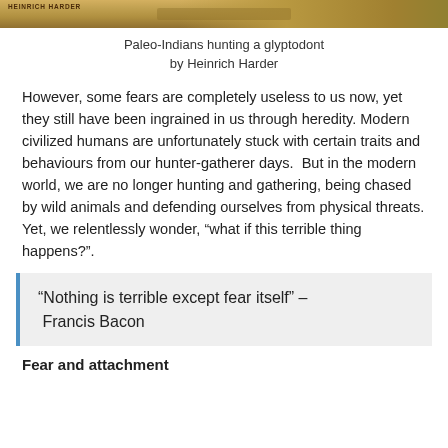[Figure (photo): Partial view of a painting showing Paleo-Indians hunting a glyptodont by Heinrich Harder — warm golden-brown tones, vegetation and animal fur visible.]
Paleo-Indians hunting a glyptodont
by Heinrich Harder
However, some fears are completely useless to us now, yet they still have been ingrained in us through heredity. Modern civilized humans are unfortunately stuck with certain traits and behaviours from our hunter-gatherer days.  But in the modern world, we are no longer hunting and gathering, being chased by wild animals and defending ourselves from physical threats. Yet, we relentlessly wonder, "what if this terrible thing happens?".
“Nothing is terrible except fear itself” – Francis Bacon
Fear and attachment